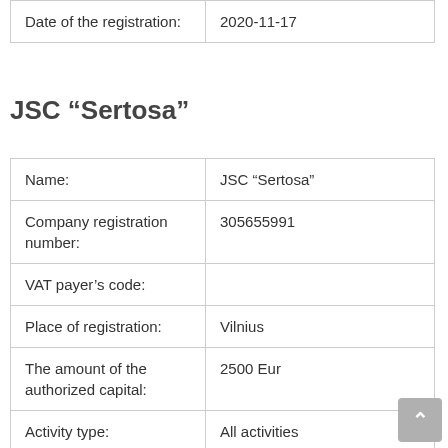| Date of the registration: | 2020-11-17 |
JSC “Sertosa”
| Name: | JSC “Sertosa” |
| Company registration number: | 305655991 |
| VAT payer’s code: |  |
| Place of registration: | Vilnius |
| The amount of the authorized capital: | 2500 Eur |
| Activity type: | All activities |
| Date of the registration: | 2020-11-12 |